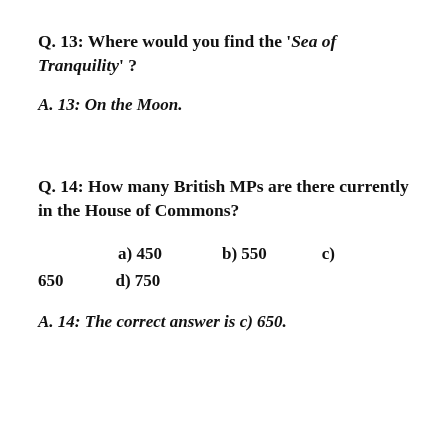Q. 13:  Where would you find the 'Sea of Tranquility' ?
A. 13:  On the Moon.
Q. 14:  How many British MPs are there currently in the House of Commons?
a)  450        b)  550        c) 650        d)  750
A. 14:  The correct answer is c) 650.